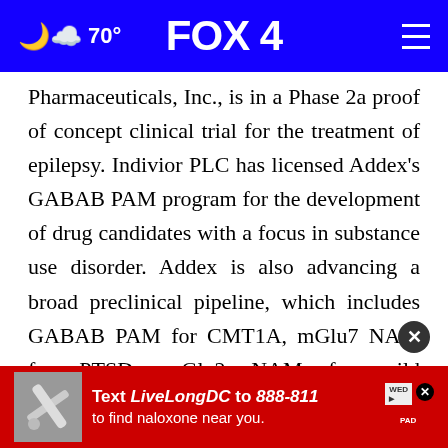FOX 4 — 70°
Pharmaceuticals, Inc., is in a Phase 2a proof of concept clinical trial for the treatment of epilepsy. Indivior PLC has licensed Addex's GABAB PAM program for the development of drug candidates with a focus in substance use disorder. Addex is also advancing a broad preclinical pipeline, which includes GABAB PAM for CMT1A, mGlu7 NAM for PTSD, mGlu2 NAM for mild neurocognitive disorders, M4 AM for psychosis and Parkinson's disease and mGlu3 PAM for neurodegenerative
[Figure (screenshot): Red advertisement banner overlay: 'Text LiveLongDC to 888-811 to find naloxone near you.' with a syringe image on the left and ad icons on the right.]